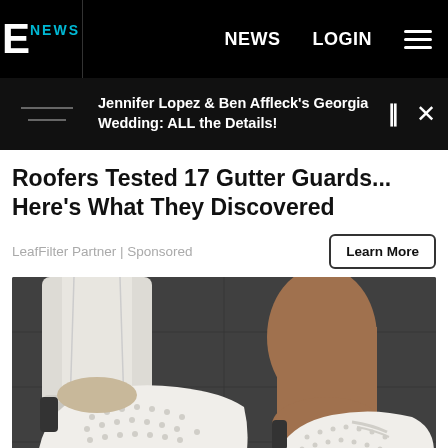E! NEWS  NEWS  LOGIN
Jennifer Lopez & Ben Affleck's Georgia Wedding: ALL the Details!
Roofers Tested 17 Gutter Guards... Here's What They Discovered
LeafFilter Partner | Sponsored
[Figure (photo): Close-up photo of a person wearing white casual slip-on sneakers with perforated design and tan/brown soles, standing on dark pavement, with white jeans rolled at the ankle.]